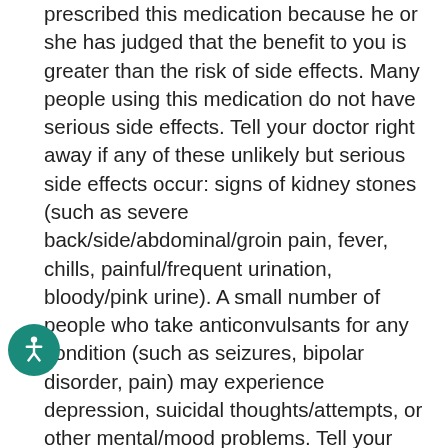prescribed this medication because he or she has judged that the benefit to you is greater than the risk of side effects. Many people using this medication do not have serious side effects. Tell your doctor right away if any of these unlikely but serious side effects occur: signs of kidney stones (such as severe back/side/abdominal/groin pain, fever, chills, painful/frequent urination, bloody/pink urine). A small number of people who take anticonvulsants for any condition (such as seizures, bipolar disorder, pain) may experience depression, suicidal thoughts/attempts, or other mental/mood problems. Tell your doctor right away if you or your family/caregiver notice any unusual/sudden changes in your mood, thoughts, or behavior including signs of depression, suicidal thoughts/attempts, thoughts about harming yourself. Tell your doctor right away if any of these rare but serious side effects occur: rapid breathing, fast/slow/irregular heartbeat, bone pain, broken bones, loss of consciousness. Rarely, topiramate may cause a very serious eye problem, generally within 1 month of starting treatment. If untreated, this eye problem can
[Figure (other): Accessibility icon — white wheelchair symbol on teal circular background]